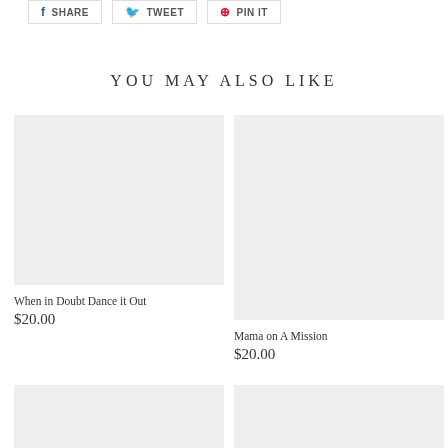[Figure (other): Social share buttons row with Facebook Share, Tweet, and Pinterest Pin It buttons]
YOU MAY ALSO LIKE
[Figure (photo): Product image placeholder (light gray) for 'When in Doubt Dance it Out']
When in Doubt Dance it Out
$20.00
[Figure (photo): Product image placeholder (light gray) for 'Mama on A Mission']
Mama on A Mission
$20.00
[Figure (photo): Product image placeholder (light gray) bottom left]
[Figure (photo): Product image placeholder (light gray) bottom right]